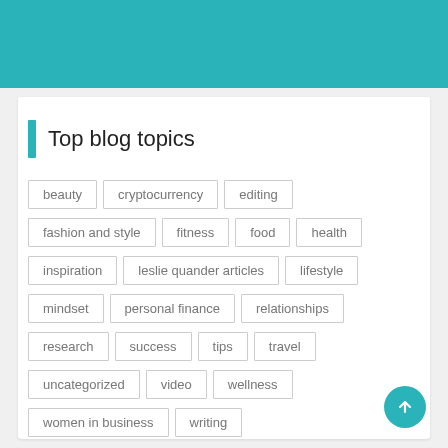[Figure (other): Teal colored header banner at top of page]
Top blog topics
beauty
cryptocurrency
editing
fashion and style
fitness
food
health
inspiration
leslie quander articles
lifestyle
mindset
personal finance
relationships
research
success
tips
travel
uncategorized
video
wellness
women in business
writing